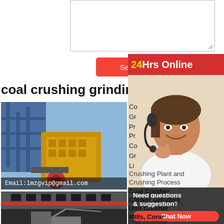[Figure (screenshot): Text input area / form field at top of page]
Send Now
coal crushing grinding producti...
[Figure (photo): Industrial coal crushing/grinding machinery with blue steel structure and yellow crusher units. Email:lmzgvip@gmail.com overlay text.]
[Figure (photo): Industrial building exterior with construction equipment]
[Figure (photo): 24Hrs Online customer service representative with headset]
24Hrs Online
Need questions & suggestion?
Chat Now
Co...
Gr...
Pr...
Pr...
Co...
Gr...
Li...
Crushing Plant and
Crushing Process
Coal Crusher Clinker Grinding Unit Crusher Mills, Cone
coal crushing